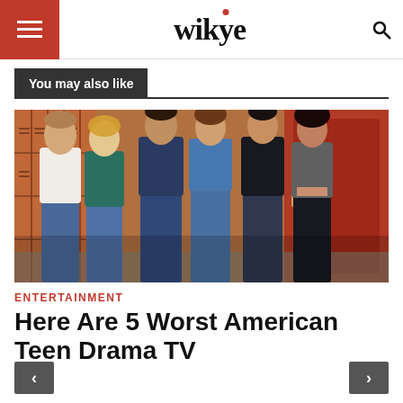wikye
You may also like
[Figure (photo): Six young adults (cast photo) standing in front of school lockers and a red door]
ENTERTAINMENT
Here Are 5 Worst American Teen Drama TV